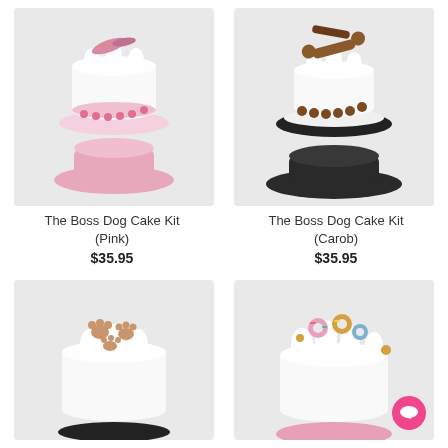[Figure (photo): Dog cake on a pink ceramic pedestal stand with white frosting, pink decorations and treats on top]
The Boss Dog Cake Kit
(Pink)
$35.95
[Figure (photo): Dog cake on a black pedestal stand with white frosting and carob/chocolate treats on top]
The Boss Dog Cake Kit
(Carob)
$35.95
[Figure (photo): Dog cake with white frosting topped with paw print chocolate decorations, on a dark stand]
[Figure (photo): Dog cake with white frosting topped with colorful donuts and treats on a pink stand, with a pink chat bubble icon overlay]